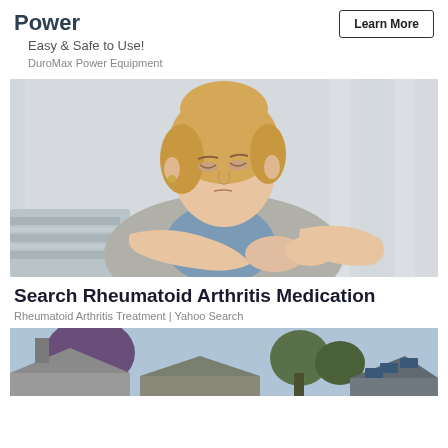Power
Easy & Safe to Use!
DuroMax Power Equipment
Learn More
[Figure (photo): Woman with blonde hair holding her wrist in pain, looking down, sitting on a couch with striped cushions, wearing a grey cardigan over blue top]
Search Rheumatoid Arthritis Medication
Rheumatoid Arthritis Treatment | Yahoo Search
[Figure (photo): Exterior of houses with trees including a purple-leafed tree, rooftops visible with solar panels]